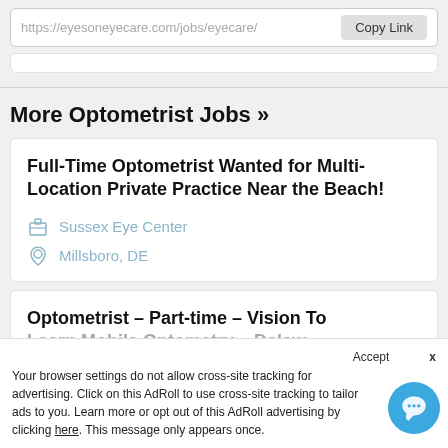https://eyesoneyecare.com/jobs/eyecare/ Copy Link
More Optometrist Jobs »
Full-Time Optometrist Wanted for Multi-Location Private Practice Near the Beach!
Sussex Eye Center
Millsboro, DE
Optometrist - Part-time - Vision To Learn Mobile Optometry - Delaware
Accept x Your browser settings do not allow cross-site tracking for advertising. Click on this AdRoll to use cross-site tracking to tailor ads to you. Learn more or opt out of this AdRoll advertising by clicking here. This message only appears once.